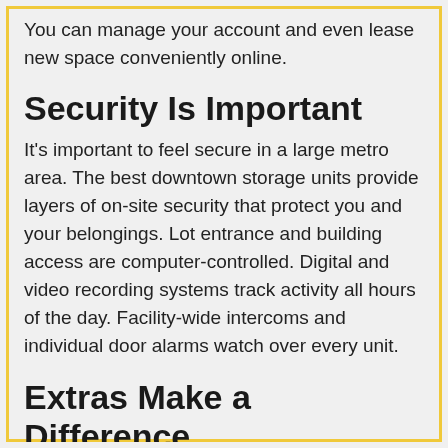You can manage your account and even lease new space conveniently online.
Security Is Important
It's important to feel secure in a large metro area. The best downtown storage units provide layers of on-site security that protect you and your belongings. Lot entrance and building access are computer-controlled. Digital and video recording systems track activity all hours of the day. Facility-wide intercoms and individual door alarms watch over every unit.
Extras Make a Difference
Businesses that want loyal customers offer extras that make a difference. Professional storage management teams also work hard catering to your expectations with these amenities and more: